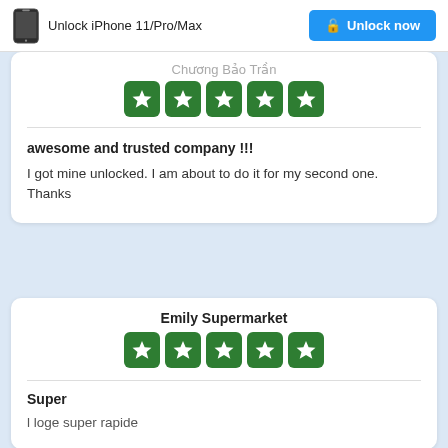Unlock iPhone 11/Pro/Max  Unlock now
Chương Bảo Trần
[Figure (other): 5 green star rating boxes]
awesome and trusted company !!!
I got mine unlocked. I am about to do it for my second one. Thanks
Emily Supermarket
[Figure (other): 5 green star rating boxes]
Super
l loge super rapide